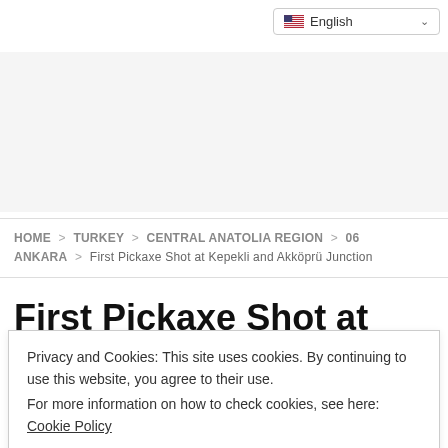English (language selector)
HOME > TURKEY > CENTRAL ANATOLIA REGION > 06 ANKARA > First Pickaxe Shot at Kepekli and Akköprü Junction
First Pickaxe Shot at Kepekli and
Privacy and Cookies: This site uses cookies. By continuing to use this website, you agree to their use.
For more information on how to check cookies, see here: Cookie Policy
OK